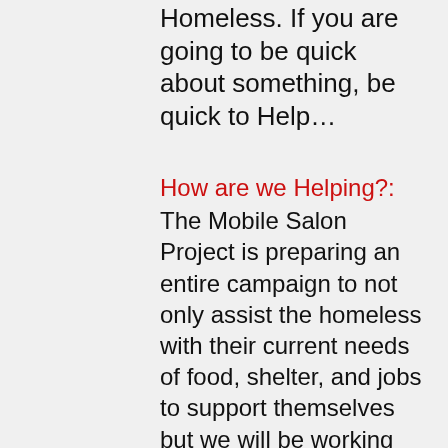Homeless. If you are going to be quick about something, be quick to Help…
How are we Helping?:
The Mobile Salon Project is preparing an entire campaign to not only assist the homeless with their current needs of food, shelter, and jobs to support themselves but we will be working on their appearance that will ultimately get them back to feeling human again. All this can be done by simply giving and donating to the Mobile Salon Project.
Why are we Helping?:
Many Homeless People just need a little help to get back on their feet